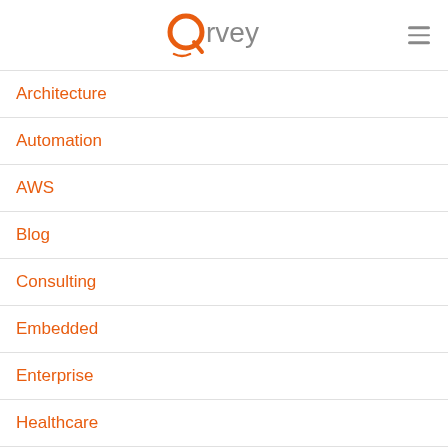Qrvey
Architecture
Automation
AWS
Blog
Consulting
Embedded
Enterprise
Healthcare
Infused
IoT